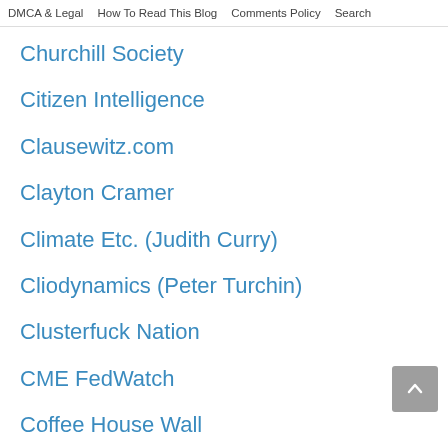DMCA & Legal   How To Read This Blog   Comments Policy   Search
Churchill Society
Citizen Intelligence
Clausewitz.com
Clayton Cramer
Climate Etc. (Judith Curry)
Cliodynamics (Peter Turchin)
Clusterfuck Nation
CME FedWatch
Coffee House Wall
Cold Spring Shops
Colin Wright
Commentary
Commonsense & Wonder